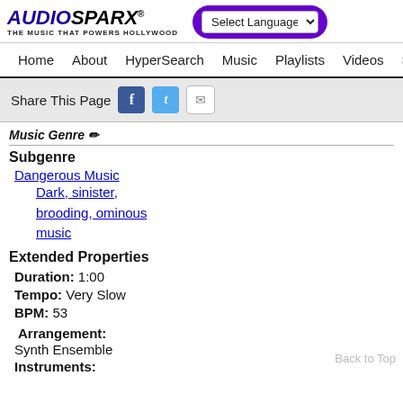AUDIOSPARX® THE MUSIC THAT POWERS HOLLYWOOD — Select Language nav
Home  About  HyperSearch  Music  Playlists  Videos  Sound
Share This Page
Music Genre ✏
Subgenre
Dangerous Music
Dark, sinister, brooding, ominous music
Extended Properties
Duration: 1:00
Tempo: Very Slow
BPM: 53
Arrangement: Synth Ensemble
Instruments: